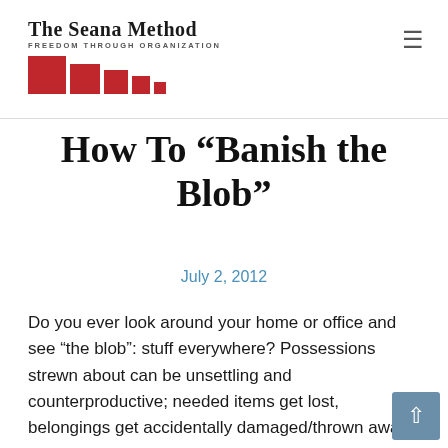The Seana Method FREEDOM THROUGH ORGANIZATION
How To “Banish the Blob”
July 2, 2012
Do you ever look around your home or office and see “the blob”: stuff everywhere? Possessions strewn about can be unsettling and counterproductive; needed items get lost, belongings get accidentally damaged/thrown away, and you just feel like you don’t have your act together.